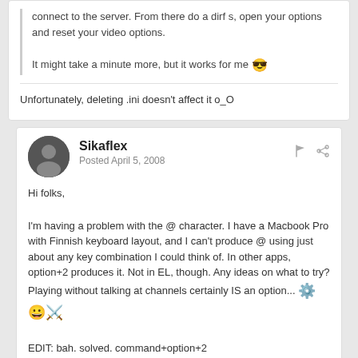connect to the server. From there do a dirf s, open your options and reset your video options.

It might take a minute more, but it works for me 😎
Unfortunately, deleting .ini doesn't affect it o_O
Sikaflex
Posted April 5, 2008
Hi folks,
I'm having a problem with the @ character. I have a Macbook Pro with Finnish keyboard layout, and I can't produce @ using just about any key combination I could think of. In other apps, option+2 produces it. Not in EL, though. Any ideas on what to try? Playing without talking at channels certainly IS an option...
EDIT: bah. solved. command+option+2
Edited April 5, 2008 by Sikaflex